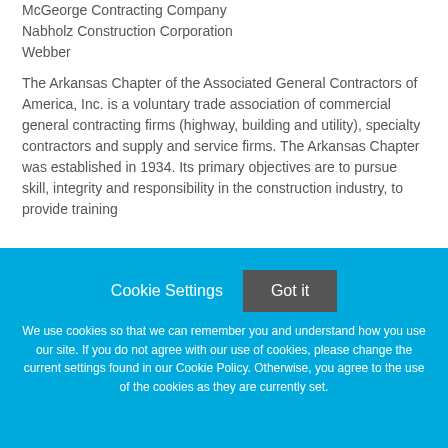McGeorge Contracting Company
Nabholz Construction Corporation
Webber
The Arkansas Chapter of the Associated General Contractors of America, Inc. is a voluntary trade association of commercial general contracting firms (highway, building and utility), specialty contractors and supply and service firms. The Arkansas Chapter was established in 1934. Its primary objectives are to pursue skill, integrity and responsibility in the construction industry, to provide training
Cookie Settings
Got it
We use cookies so that we can remember you and understand how you use our site. If you do not agree with our use of cookies, please change the current settings found in our Cookie Policy. Otherwise, you agree to the use of the cookies as they are currently set.